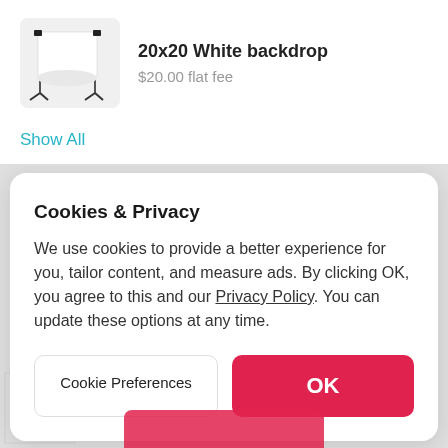[Figure (photo): Photo of a white photography backdrop on stands, shown against a light background]
20x20 White backdrop
$20.00 flat fee
Show All
Cookies & Privacy
We use cookies to provide a better experience for you, tailor content, and measure ads. By clicking OK, you agree to this and our Privacy Policy. You can update these options at any time.
Cookie Preferences
OK